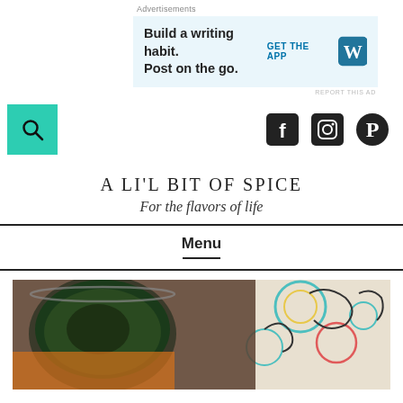Advertisements
[Figure (screenshot): Advertisement banner: Build a writing habit. Post on the go. GET THE APP with WordPress logo icon]
REPORT THIS AD
[Figure (screenshot): Website navigation bar with teal search button on left and Facebook, Instagram, Pinterest social icons on right]
A LI'L BIT OF SPICE
For the flavors of life
Menu
[Figure (photo): Food photo showing Indian dishes in metal bowls with a colorful patterned fabric in the background]